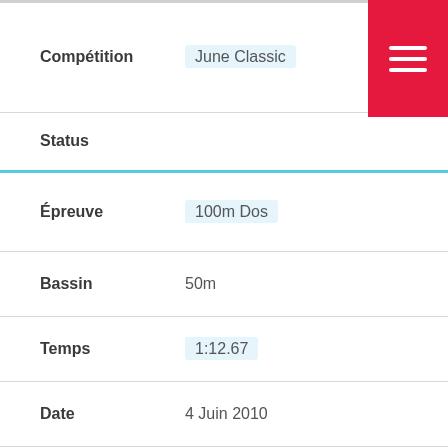Compétition: June Classic
Status
Épreuve: 100m Dos
Bassin: 50m
Temps: 1:12.67
Date: 4 Juin 2010
Compétition: June Classic
Status